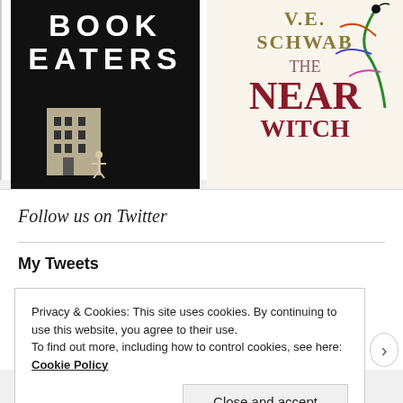[Figure (illustration): Two book covers side by side. Left: 'Book Eaters' with dark/black background featuring a building and figure made of paper. Right: V.E. Schwab 'The Near Witch' with colorful illustrated cover and gold author name.]
Follow us on Twitter
My Tweets
Privacy & Cookies: This site uses cookies. By continuing to use this website, you agree to their use.
To find out more, including how to control cookies, see here: Cookie Policy
Close and accept